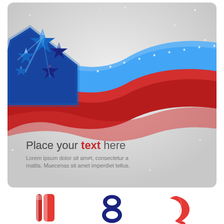[Figure (illustration): Patriotic American-themed decorative banner/card with red, white and blue wavy ribbon stripes and blue 3D stars cluster on left side, with placeholder text area. Below the card are three decorative ribbon/number designs: a red and white vertical bar design, a navy blue with stars figure-8 or letter design, and a solid red curved ribbon design.]
Place your text here
Lorem ipsum dolor sit amet, consectetur a mattis. Maecenas sit amet imperdiet tellus.